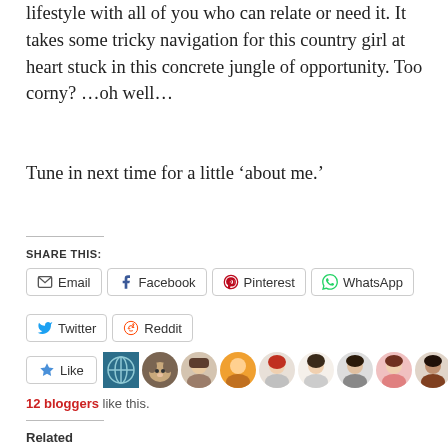lifestyle with all of you who can relate or need it. It takes some tricky navigation for this country girl at heart stuck in this concrete jungle of opportunity. Too corny? …oh well…
Tune in next time for a little ‘about me.’
SHARE THIS:
Email  Facebook  Pinterest  WhatsApp  Twitter  Reddit
Like
12 bloggers like this.
Related